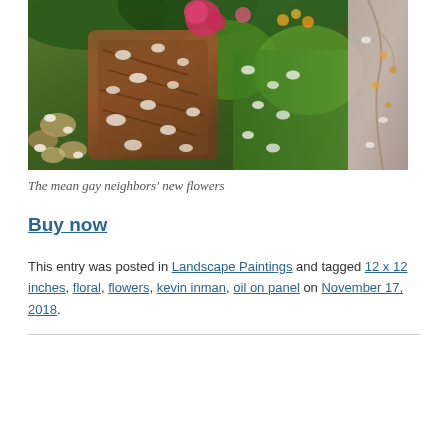[Figure (photo): Close-up painting of colorful flowers with brown tree bark, green foliage, pink blooms, white petals, and a pink abstract right side — oil on panel artwork by Kevin Inman.]
The mean gay neighbors' new flowers
Buy now
This entry was posted in Landscape Paintings and tagged 12 x 12 inches, floral, flowers, kevin inman, oil on panel on November 17, 2018.